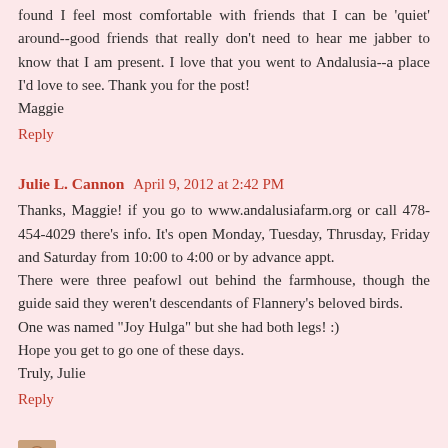found I feel most comfortable with friends that I can be 'quiet' around--good friends that really don't need to hear me jabber to know that I am present. I love that you went to Andalusia--a place I'd love to see. Thank you for the post!
Maggie
Reply
Julie L. Cannon  April 9, 2012 at 2:42 PM
Thanks, Maggie! if you go to www.andalusiafarm.org or call 478-454-4029 there's info. It's open Monday, Tuesday, Thrusday, Friday and Saturday from 10:00 to 4:00 or by advance appt.
There were three peafowl out behind the farmhouse, though the guide said they weren't descendants of Flannery's beloved birds.
One was named "Joy Hulga" but she had both legs! :)
Hope you get to go one of these days.
Truly, Julie
Reply
Judy Merrill Larsen  April 9, 2012 at 3:38 PM